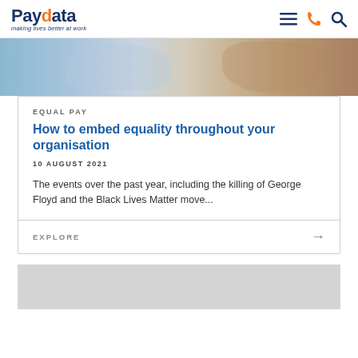Paydata — making lives better at work
[Figure (photo): Two people outdoors, one holding a tablet and a coffee cup, with buildings in background]
EQUAL PAY
How to embed equality throughout your organisation
10 AUGUST 2021
The events over the past year, including the killing of George Floyd and the Black Lives Matter move...
EXPLORE →
[Figure (other): Gray placeholder image at bottom of page]